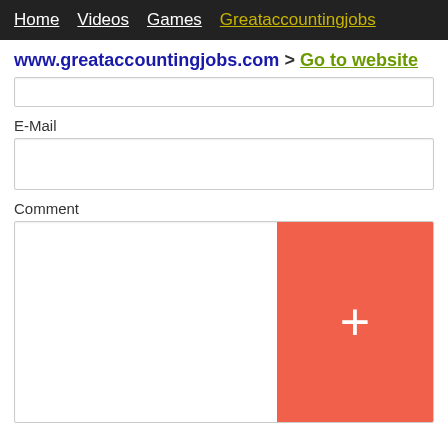Home  Videos  Games  Greataccountingjobs
www.greataccountingjobs.com > Go to website
E-Mail
Comment
[Figure (screenshot): Comment text area with a red/orange '+' button on the right side]